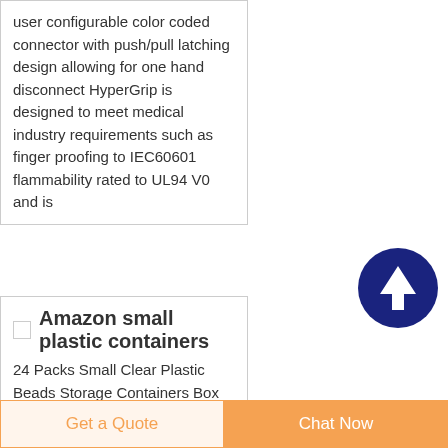user configurable color coded connector with push/pull latching design allowing for one hand disconnect HyperGrip is designed to meet medical industry requirements such as finger proofing to IEC60601 flammability rated to UL94 V0 and is
[Figure (other): Dark navy blue circular button with white upward arrow icon, used as a scroll-to-top button]
Amazon small plastic containers
24 Packs Small Clear Plastic Beads Storage Containers Box with Hinged Lid for Storage of Small Items Crafts
Get a Quote   Chat Now